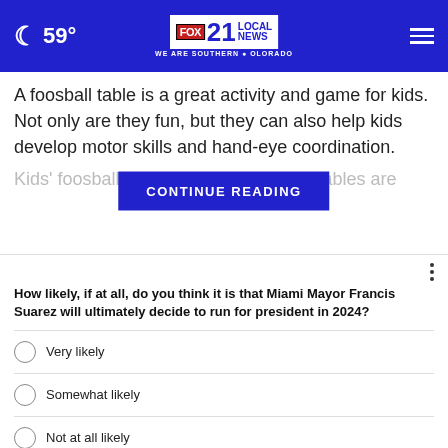59° FOX 21 LOCAL NEWS WE ARE SOUTHERN COLORADO
A foosball table is a great activity and game for kids. Not only are they fun, but they can also help kids develop motor skills and hand-eye coordination.
Kids' foosball [CONTINUE READING] all tables are
How likely, if at all, do you think it is that Miami Mayor Francis Suarez will ultimately decide to run for president in 2024?
Very likely
Somewhat likely
Not at all likely